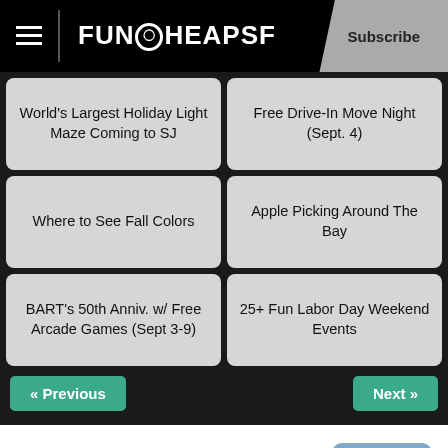FUNCHEAPSF | Subscribe
World's Largest Holiday Light Maze Coming to SJ
Free Drive-In Move Night (Sept. 4)
Where to See Fall Colors
Apple Picking Around The Bay
BART's 50th Anniv. w/ Free Arcade Games (Sept 3-9)
25+ Fun Labor Day Weekend Events
« Previous    Next »
2,000-Year-Old Redwoods Survive Fire at Big Basin
Fire Updates
"The reason those trees are so old is because they are